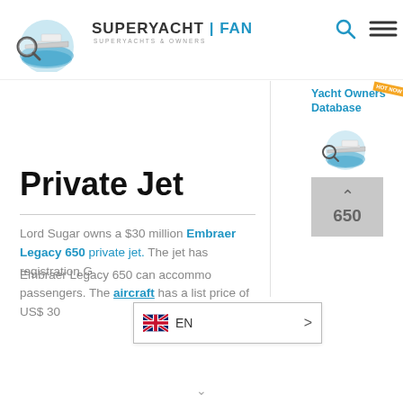[Figure (logo): SuperYachtFan logo with magnifying glass over yacht on water waves, blue and white illustration]
SUPERYACHT | FAN
SUPERYACHTS & OWNERS
Private Jet
Lord Sugar owns a $30 million Embraer Legacy 650 private jet. The jet has registration G... Embraer Legacy 650 can accommodate passengers. The aircraft has a list price of US$ 30...
[Figure (illustration): SuperYachtFan logo icon with Yacht Owners Database promo and hot now badge in orange]
[Figure (screenshot): Language selector dropdown showing UK flag and EN text with right arrow]